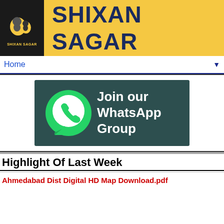[Figure (logo): Shixan Sagar website header with black logo box on left and yellow background with bold dark blue text 'SHIXAN SAGAR' on right]
Home ▼
[Figure (illustration): WhatsApp group join banner showing WhatsApp logo (green speech bubble with phone icon) on dark teal background with white bold text 'Join our WhatsApp Group']
Highlight Of Last Week
Ahmedabad Dist Digital HD Map Download.pdf